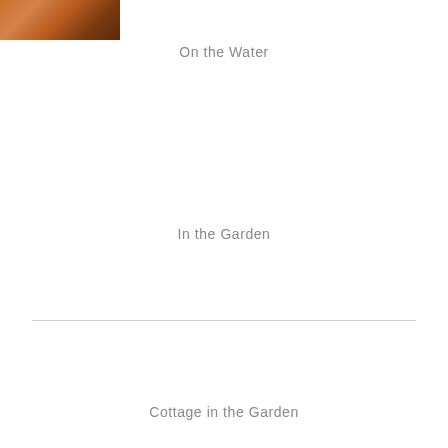[Figure (photo): Partial photo visible at top-left corner, appears to be an outdoor/water scene with warm orange-brown tones]
On the Water
In the Garden
Cottage in the Garden